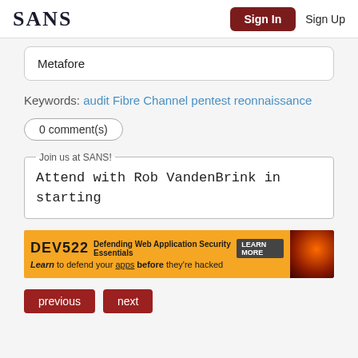SANS | Sign In | Sign Up
Metafore
Keywords: audit Fibre Channel pentest reonnaissance
0 comment(s)
Join us at SANS! Attend with Rob VandenBrink in starting
[Figure (infographic): DEV522 Defending Web Application Security Essentials advertisement banner. Learn to defend your apps before they're hacked.]
previous  next